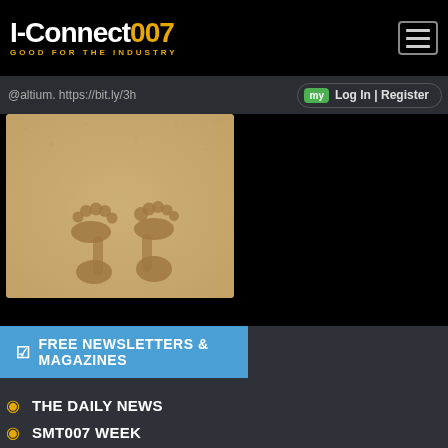I-Connect007 GOOD FOR THE INDUSTRY
@altium. https://bit.ly/3h...
my Log In | Register
[Figure (photo): Footprints in sand - two bare feet impressions in golden sandy beach]
FREE NEWSLETTERS & MAGAZINES
THE DAILY NEWS
SMT007 WEEK
DESIGN007 WEEK
MILAERO007 WEEK